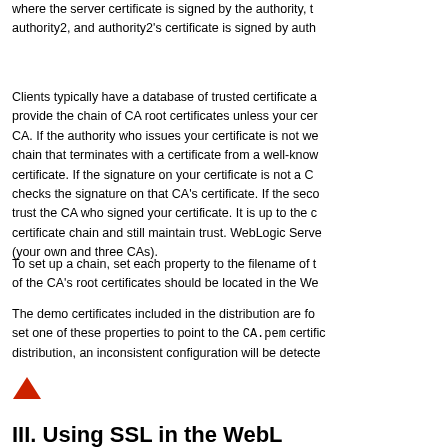where the server certificate is signed by the authority, the authority2, and authority2's certificate is signed by autho...
Clients typically have a database of trusted certificate a... provide the chain of CA root certificates unless your cer... CA. If the authority who issues your certificate is not we... chain that terminates with a certificate from a well-know... certificate. If the signature on your certificate is not a CA... checks the signature on that CA's certificate. If the seco... trust the CA who signed your certificate. It is up to the c... certificate chain and still maintain trust. WebLogic Serve... (your own and three CAs).
To set up a chain, set each property to the filename of t... of the CA's root certificates should be located in the We...
The demo certificates included in the distribution are fo... set one of these properties to point to the CA.pem certific... distribution, an inconsistent configuration will be detecte...
[Figure (other): Red upward-pointing arrow icon (navigation/back-to-top indicator)]
III. Using SSL in the WebL...